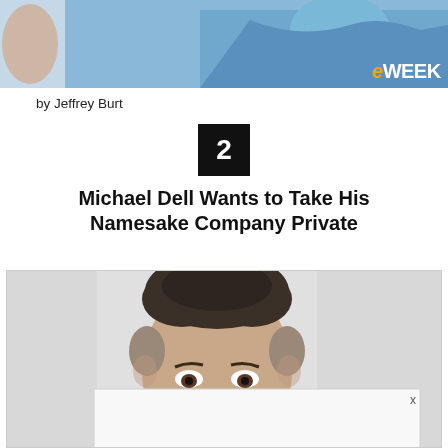[Figure (photo): Top partial image showing a person in a blue shirt with eWEEK logo badge in the bottom right corner]
by Jeffrey Burt
[Figure (other): Black square badge with white number 2]
Michael Dell Wants to Take His Namesake Company Private
[Figure (photo): Portrait photo of Michael Dell smiling, with a partial ad overlay in the bottom right corner with an X close button]